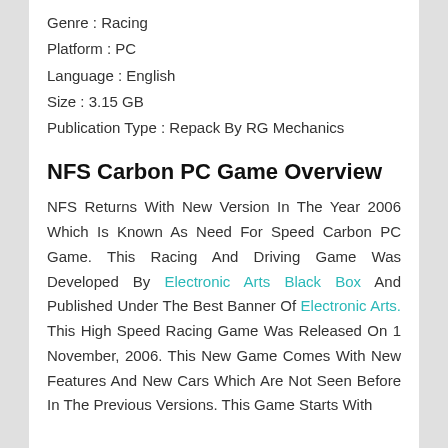Genre : Racing
Platform : PC
Language : English
Size : 3.15 GB
Publication Type : Repack By RG Mechanics
NFS Carbon PC Game Overview
NFS Returns With New Version In The Year 2006 Which Is Known As Need For Speed Carbon PC Game. This Racing And Driving Game Was Developed By Electronic Arts Black Box And Published Under The Best Banner Of Electronic Arts. This High Speed Racing Game Was Released On 1 November, 2006. This New Game Comes With New Features And New Cars Which Are Not Seen Before In The Previous Versions. This Game Starts With